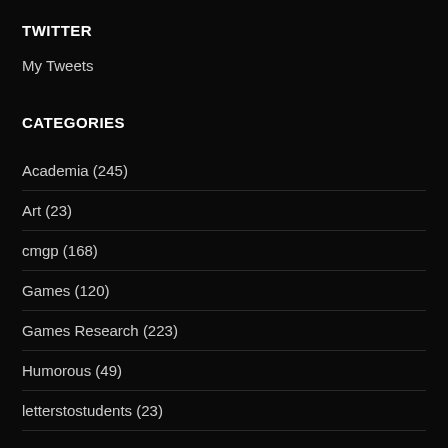TWITTER
My Tweets
CATEGORIES
Academia (245)
Art (23)
cmgp (168)
Games (120)
Games Research (223)
Humorous (49)
letterstostudents (23)